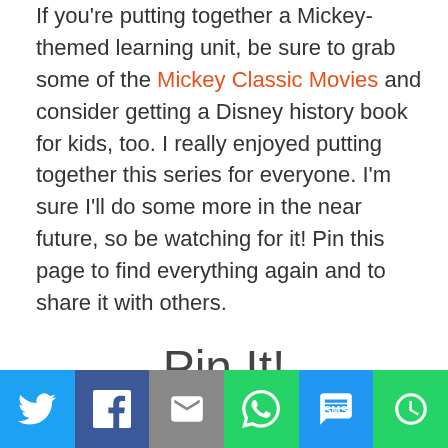If you're putting together a Mickey-themed learning unit, be sure to grab some of the Mickey Classic Movies and consider getting a Disney history book for kids, too.  I really enjoyed putting together this series for everyone.  I'm sure I'll do some more in the near future, so be watching for it!  Pin this page to find everything again and to share it with others.
Pin It!
[Figure (infographic): Social sharing bar with Twitter, Facebook, Email, WhatsApp, SMS, and More buttons]